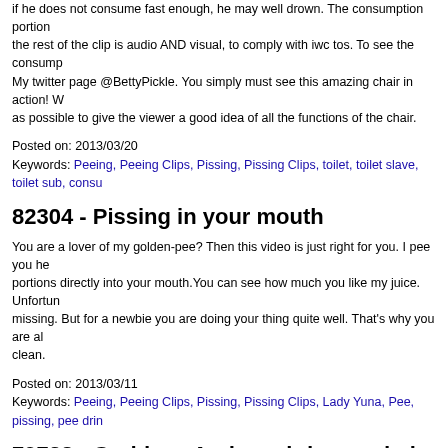if he does not consume fast enough, he may well drown. The consumption portion the rest of the clip is audio AND visual, to comply with iwc tos. To see the consump My twitter page @BettyPickle. You simply must see this amazing chair in action! W as possible to give the viewer a good idea of all the functions of the chair.
Posted on: 2013/03/20
Keywords: Peeing, Peeing Clips, Pissing, Pissing Clips, toilet, toilet slave, toilet sub, consu
82304 - Pissing in your mouth
You are a lover of my golden-pee? Then this video is just right for you. I pee you he portions directly into your mouth.You can see how much you like my juice. Unfortun missing. But for a newbie you are doing your thing quite well. That's why you are al clean.
Posted on: 2013/03/11
Keywords: Peeing, Peeing Clips, Pissing, Pissing Clips, Lady Yuna, Pee, pissing, pee drin
79723 - Goddess Andreea bdsm and piss drinking
Today Goddess Andreea was so kinky. She was in a good mood and use her slave to become bisexual, order them to suck each other cocks, or use them as their toile movies finished today, she receive a feet worshipping, high heels licked and sucke sametime, stockings worshipped, She use one of her slave as ashtray and oblige h her slaves to stroke their cocks hard and also humiliate them. Because Goddess A holiday she come back to use her human toilets more perverse. She use her slave order them to lick her labia, lick her pussy and asshole and trampling them with he suck her perfect nails. At the end, she keep one of her slave to can empty her blad unfortunatelly she didn't have her kaviar ready at that hour. Perverse and kinky acti Andreea dungeon in Romania.
Posted on: 2013/03/07